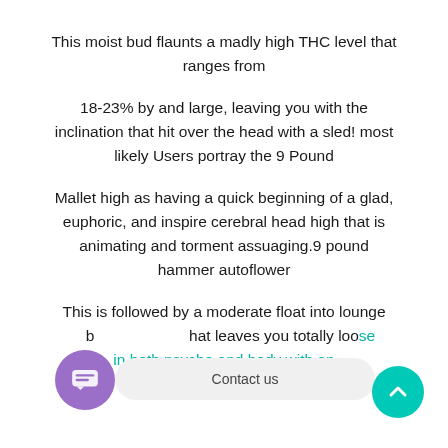This moist bud flaunts a madly high THC level that ranges from
18-23% by and large, leaving you with the inclination that hit over the head with a sled! most likely Users portray the 9 Pound
Mallet high as having a quick beginning of a glad, euphoric, and inspire cerebral head high that is animating and torment assuaging.9 pound hammer autoflower
This is followed by a moderate float into lounge r b hat leaves you totally loose in both psyche and body with an